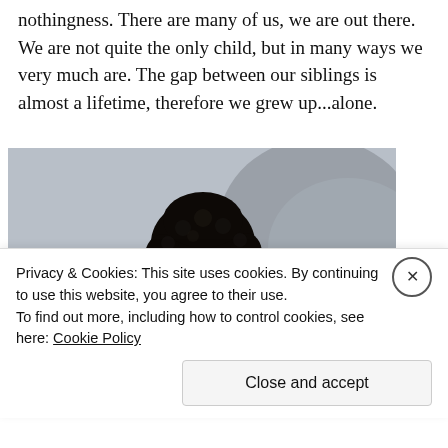nothingness. There are many of us, we are out there. We are not quite the only child, but in many ways we very much are. The gap between our siblings is almost a lifetime, therefore we grew up...alone.
[Figure (photo): A young Black girl with curly braided hair, wearing a white sleeveless top, leaning forward on a sandy beach with large rocks in the background.]
Privacy & Cookies: This site uses cookies. By continuing to use this website, you agree to their use.
To find out more, including how to control cookies, see here: Cookie Policy